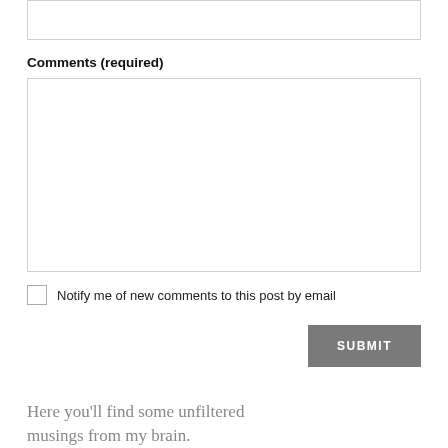Comments (required)
Notify me of new comments to this post by email
SUBMIT
Here you'll find some unfiltered musings from my brain.